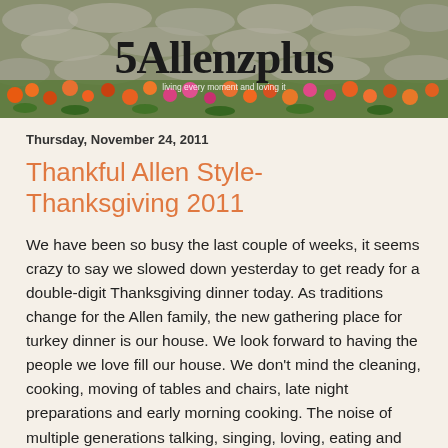[Figure (photo): Blog header banner with stone wall background, flowering plants in orange and pink, and the blog title '5Allenzplus' in large decorative font with a subtitle beneath it]
Thursday, November 24, 2011
Thankful Allen Style- Thanksgiving 2011
We have been so busy the last couple of weeks, it seems crazy to say we slowed down yesterday to get ready for a double-digit Thanksgiving dinner today.  As traditions change for the Allen family, the new gathering place for turkey dinner is our house.  We look forward to having the people we love fill our house.  We don't mind the cleaning, cooking, moving of tables and chairs, late night preparations and early morning cooking.  The noise of multiple generations talking, singing, loving, eating and playing together is a sound I treasure. I'll never get tired of the Allen brothers guitar playing and song singing.  Phone calls and from family and friends that couldn't be with t